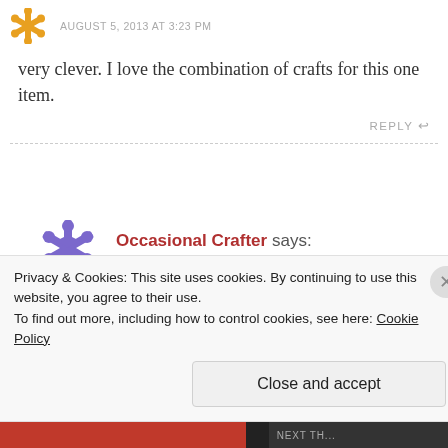AUGUST 5, 2013 AT 3:23 PM
very clever. I love the combination of crafts for this one item.
REPLY
Occasional Crafter says: AUGUST 5, 2013 AT 3:27 PM
Thank you! Nice to be able to use the tatting
Privacy & Cookies: This site uses cookies. By continuing to use this website, you agree to their use.
To find out more, including how to control cookies, see here: Cookie Policy
Close and accept